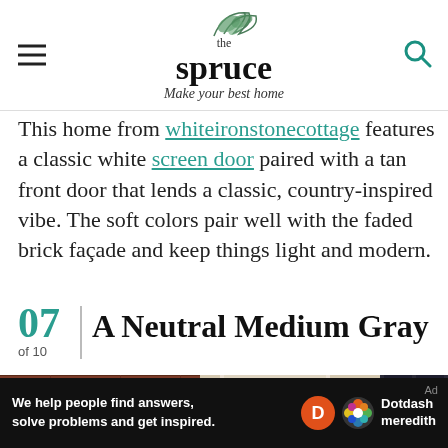the spruce — Make your best home
This home from whiteironstonecottage features a classic white screen door paired with a tan front door that lends a classic, country-inspired vibe. The soft colors pair well with the faded brick façade and keep things light and modern.
07 of 10 | A Neutral Medium Gray
[Figure (photo): Exterior of a house showing red brick facade on the left, a cream/tan front door with white frame molding in the center, and dark shutters visible on the right side]
We help people find answers, solve problems and get inspired. Dotdash meredith